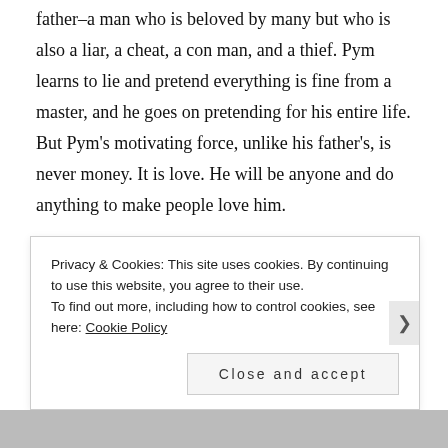father–a man who is beloved by many but who is also a liar, a cheat, a con man, and a thief. Pym learns to lie and pretend everything is fine from a master, and he goes on pretending for his entire life. But Pym's motivating force, unlike his father's, is never money. It is love. He will be anyone and do anything to make people love him.
Is Pym a traitor or isn't he? As his boss and his wife frantically try to find him, Pym recalls the circumstances and tangled events that lead him to where he is in the present time, alone in his rooms contemplating the next step.
Privacy & Cookies: This site uses cookies. By continuing to use this website, you agree to their use.
To find out more, including how to control cookies, see here: Cookie Policy